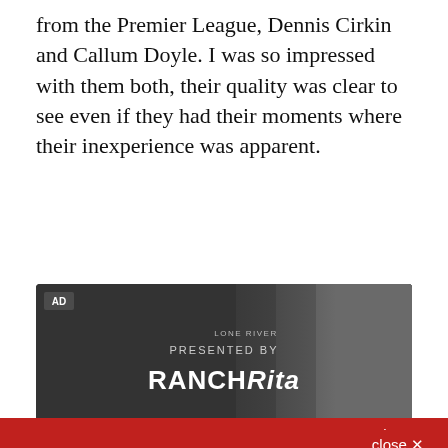from the Premier League, Dennis Cirkin and Callum Doyle. I was so impressed with them both, their quality was clear to see even if they had their moments where their inexperience was apparent.
[Figure (screenshot): Advertisement banner with dark background showing PRESENTED BY RANCH Rita logo with people in background. AD label in top left corner.]
close ×
Sign up for the Roker Report Daily Roundup newsletter!
A daily roundup of Sunderland news from Roker Report
Email (required)
By submitting your email, you agree to our Terms and Privacy Notice. You can opt out at any time. This site is protected by reCAPTCHA and the Google Privacy Policy and Terms of Service apply.